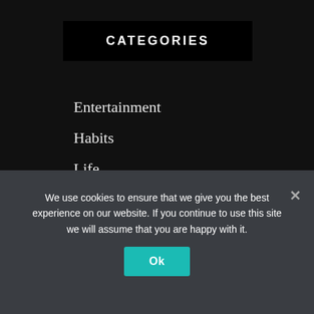CATEGORIES
Entertainment
Habits
Life
Life Coach
Movie Review
News
Self Improvement (partial, cut off)
We use cookies to ensure that we give you the best experience on our website. If you continue to use this site we will assume that you are happy with it.
Ok